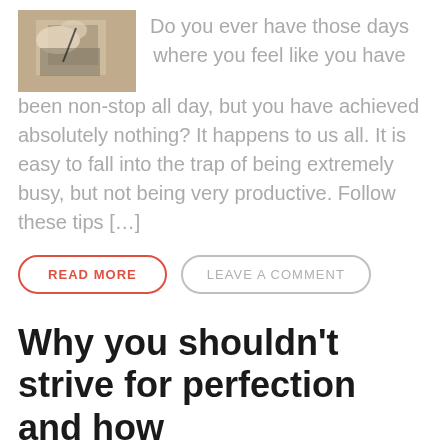[Figure (photo): A person writing in a notebook, viewed from above, wearing a grey sweater]
Do you ever have those days where you feel like you have been non-stop all day, but you have achieved absolutely nothing? It happens to us all. It is easy to fall into the trap of being extremely busy, but not being very productive. Follow these tips […]
READ MORE
LEAVE A COMMENT
Why you shouldn't strive for perfection and how